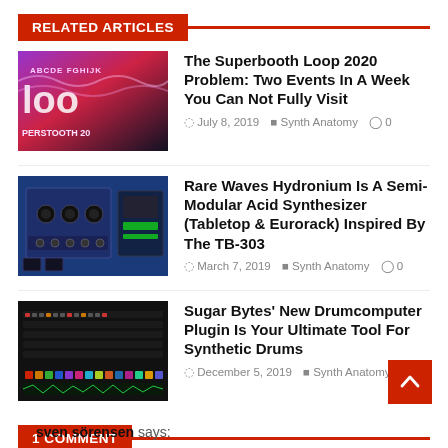RELATED ARTICLES
The Superbooth Loop 2020 Problem: Two Events In A Week You Can Not Fully Visit
July 8, 2019  Synth Anatomy  0
Rare Waves Hydronium Is A Semi-Modular Acid Synthesizer (Tabletop & Eurorack) Inspired By The TB-303
March 7, 2019  Synth Anatomy  0
Sugar Bytes' New Drumcomputer Plugin Is Your Ultimate Tool For Synthetic Drums
December 5, 2019  Synth Anatomy  0
1 COMMENT
sven sörensen says: